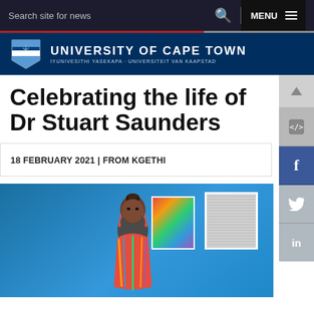Search site for news  MENU
[Figure (logo): University of Cape Town logo with shield crest]
UNIVERSITY OF CAPE TOWN
IYUNIVESITHI YASEKAPA · UNIVERSITEIT VAN KAAPSTAD
Celebrating the life of Dr Stuart Saunders
18 FEBRUARY 2021 | FROM KGETHI
[Figure (photo): A woman wearing a colorful patterned top and dangling earrings stands in front of two artworks on a blue wall background]